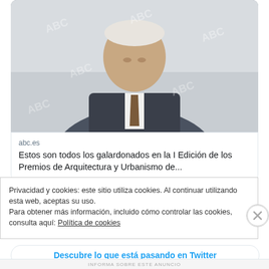[Figure (photo): Elderly man in a dark blazer and tie, photographed in a soft-focus indoor setting. The photo has a watermark 'ABC' repeated across it.]
abc.es
Estos son todos los galardonados en la I Edición de los Premios de Arquitectura y Urbanismo de...
10:42 a. m. · 1 jun. 2022 de Galicia
Responder   Copiar enlace al Tweet
Descubre lo que está pasando en Twitter
Privacidad y cookies: este sitio utiliza cookies. Al continuar utilizando esta web, aceptas su uso.
Para obtener más información, incluido cómo controlar las cookies, consulta aquí: Política de cookies
Cerrar y aceptar